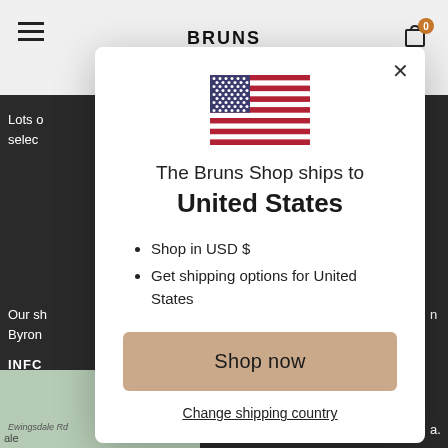BRUNS
[Figure (screenshot): Modal dialog on a dark-background website. Shows US flag, heading 'The Bruns Shop ships to United States', bullet points 'Shop in USD $' and 'Get shipping options for United States', a beige 'Shop now' button, and a 'Change shipping country' link.]
The Bruns Shop ships to United States
Shop in USD $
Get shipping options for United States
Shop now
Change shipping country